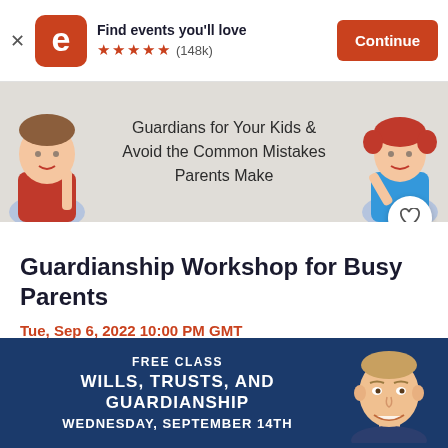[Figure (screenshot): Eventbrite app banner with orange logo, 'Find events you'll love' text, 5 star rating (148k), and Continue button]
[Figure (photo): Event promotional banner showing two children with text: Guardians for Your Kids & Avoid the Common Mistakes Parents Make]
Guardianship Workshop for Busy Parents
Tue, Sep 6, 2022 10:00 PM GMT
Free
[Figure (photo): Dark blue promotional banner for Free Class: Wills, Trusts, and Guardianship - Wednesday, September 14th with a man's photo]